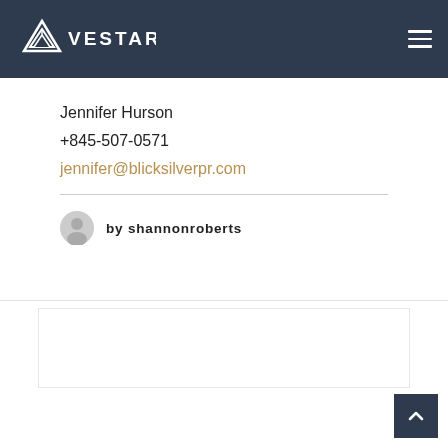VESTAR
Jennifer Hurson
+845-507-0571
jennifer@blicksilverpr.com
by shannonroberts